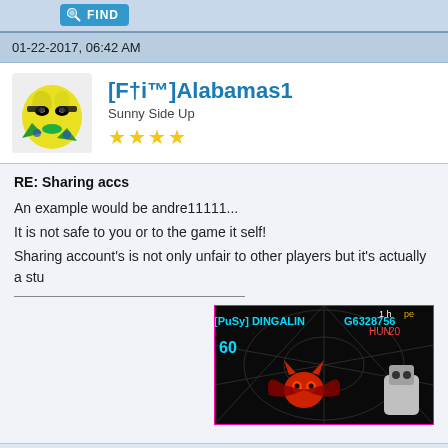[Figure (screenshot): Find button at top of page, blue rounded button with magnifying glass icon and FIND text]
01-22-2017, 06:42 AM
[Figure (photo): User avatar: cartoon yellow egg character with sunglasses and green markings]
[F†i™]Alabamas1
Sunny Side Up
★★★★
RE: Sharing accs
An example would be andre11111...
It is not safe to you or to the game it self!
Sharing account's is not only unfair to other players but it's actually a stu
[Figure (screenshot): Game screenshot showing [PuSy] DINGALIN G6328756 with score 60, dark background with spider web, red devil creature and robot character]
[Figure (screenshot): Find button, blue rounded button with magnifying glass icon and FIND text]
01-23-2017, 04:11 AM
[Figure (photo): User avatar: dark slug-like creature with big eyes on black background]
egg666
BAD!